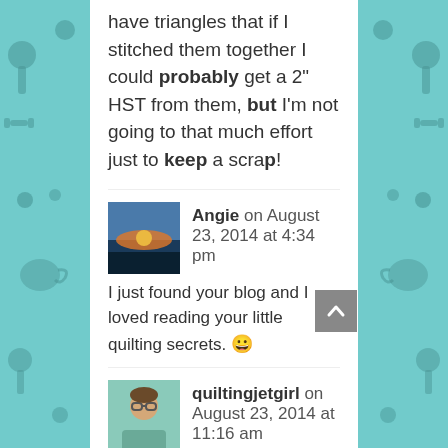have triangles that if I stitched them together I could probably get a 2" HST from them, but I'm not going to that much effort just to keep a scrap!
Angie on August 23, 2014 at 4:34 pm
I just found your blog and I loved reading your little quilting secrets. 😀
quiltingjetgirl on August 23, 2014 at 11:16 am
🙂 Glad you joined in Beth, it's kind of freeing, isn't it? I give a lot of scraps to a teacher friend who uses them in her